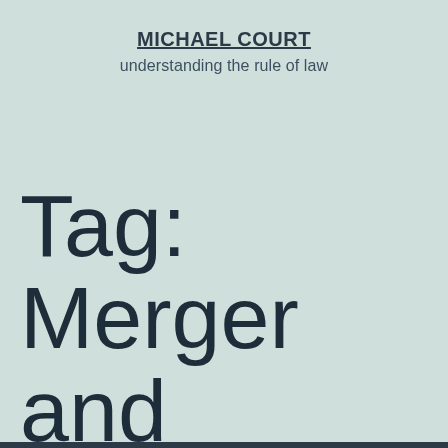MICHAEL COURT
understanding the rule of law
Tag: Merger and consolidation